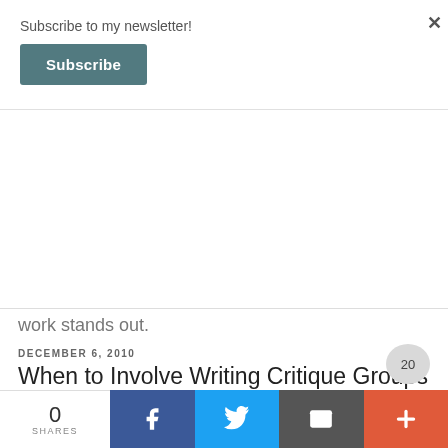Subscribe to my newsletter!
Subscribe
work stands out.
DECEMBER 6, 2010
When to Involve Writing Critique Groups
Reader Melissa asked a question about writing critique groups:
What's the best time to
0 SHARES
f
Twitter
Email
+